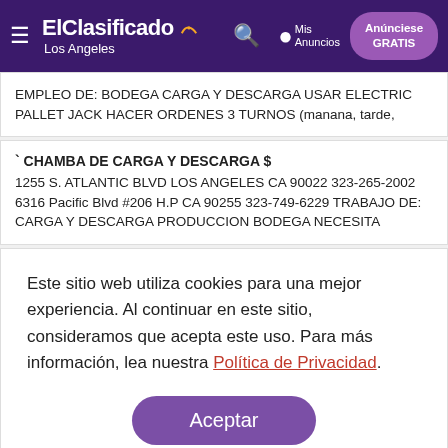ElClasificado Los Angeles — Mis Anuncios — Anúnciese GRATIS
EMPLEO DE: BODEGA CARGA Y DESCARGA USAR ELECTRIC PALLET JACK HACER ORDENES 3 TURNOS (manana, tarde,
` CHAMBA DE CARGA Y DESCARGA $
1255 S. ATLANTIC BLVD LOS ANGELES CA 90022 323-265-2002 6316 Pacific Blvd #206 H.P CA 90255 323-749-6229 TRABAJO DE: CARGA Y DESCARGA PRODUCCION BODEGA NECESITA
Este sitio web utiliza cookies para una mejor experiencia. Al continuar en este sitio, consideramos que acepta este uso. Para más información, lea nuestra Política de Privacidad.
Aceptar